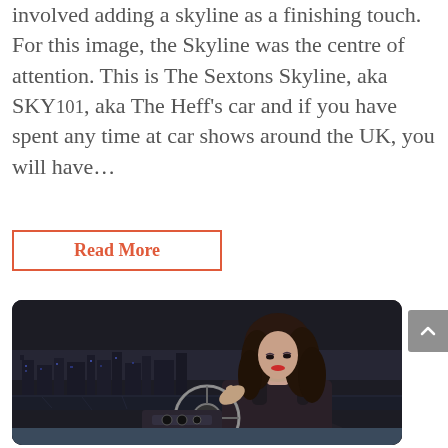involved adding a skyline as a finishing touch. For this image, the Skyline was the centre of attention. This is The Sextons Skyline, aka SKY101, aka The Heff's car and if you have spent any time at car shows around the UK, you will have...
Read More
[Figure (photo): Black and white photo of a woman with long curly dark hair sitting in a classic car at a steering wheel, with a city skyline at night visible in the background. The woman is slightly colorized while the background remains monochrome.]